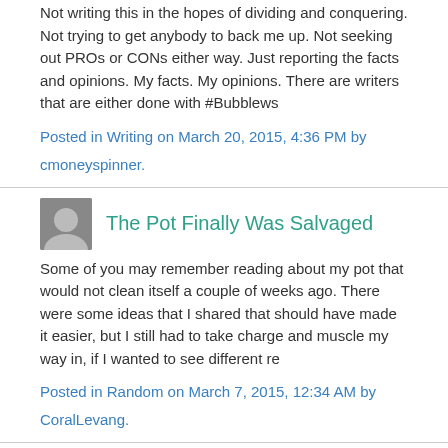Not writing this in the hopes of dividing and conquering. Not trying to get anybody to back me up. Not seeking out PROs or CONs either way. Just reporting the facts and opinions. My facts. My opinions. There are writers that are either done with #Bubblews
Posted in Writing on March 20, 2015, 4:36 PM by cmoneyspinner.
The Pot Finally Was Salvaged
Some of you may remember reading about my pot that would not clean itself a couple of weeks ago. There were some ideas that I shared that should have made it easier, but I still had to take charge and muscle my way in, if I wanted to see different re
Posted in Random on March 7, 2015, 12:34 AM by CoralLevang.